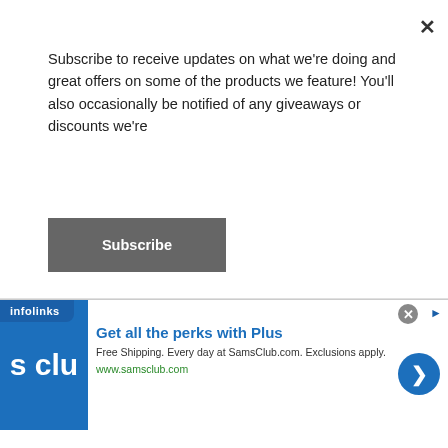Subscribe to receive updates on what we're doing and great offers on some of the products we feature! You'll also occasionally be notified of any giveaways or discounts we're
Subscribe
[Figure (photo): Dark background with weight plates and a stylized 'WA' logo in gold, with tagline: LEARN. NETWORK. BUILD. SUCCEED.]
May prosperity and good health be always with you.
[Figure (screenshot): Infolinks ad bar with SamsClub advertisement: 'Get all the perks with Plus. Free Shipping. Every day at SamsClub.com. Exclusions apply. www.samsclub.com']